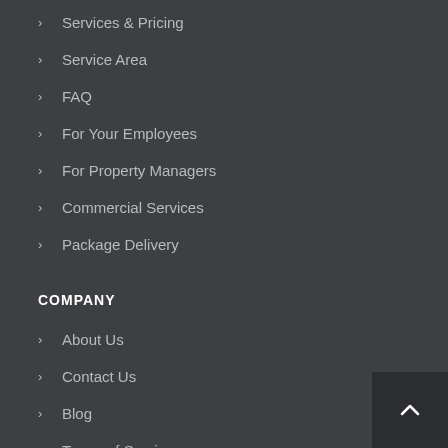Services & Pricing
Service Area
FAQ
For Your Employees
For Property Managers
Commercial Services
Package Delivery
COMPANY
About Us
Contact Us
Blog
Terms of Service